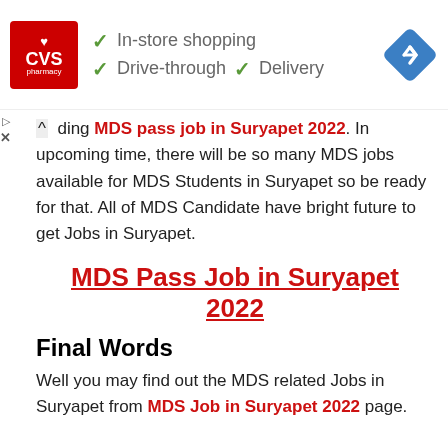[Figure (other): CVS Pharmacy advertisement banner showing logo with checkmarks for In-store shopping, Drive-through, and Delivery services, plus navigation icon]
ding MDS pass job in Suryapet 2022. In upcoming time, there will be so many MDS jobs available for MDS Students in Suryapet so be ready for that. All of MDS Candidate have bright future to get Jobs in Suryapet.
MDS Pass Job in Suryapet 2022
Final Words
Well you may find out the MDS related Jobs in Suryapet from MDS Job in Suryapet 2022 page.